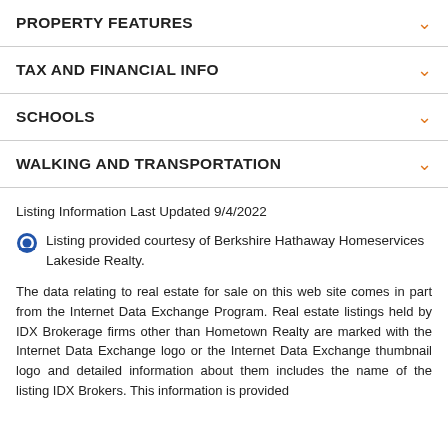PROPERTY FEATURES
TAX AND FINANCIAL INFO
SCHOOLS
WALKING AND TRANSPORTATION
Listing Information Last Updated 9/4/2022
Listing provided courtesy of Berkshire Hathaway Homeservices Lakeside Realty.
The data relating to real estate for sale on this web site comes in part from the Internet Data Exchange Program. Real estate listings held by IDX Brokerage firms other than Hometown Realty are marked with the Internet Data Exchange logo or the Internet Data Exchange thumbnail logo and detailed information about them includes the name of the listing IDX Brokers. This information is provided